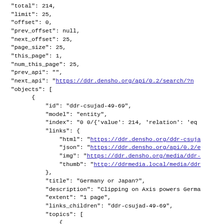JSON API response snippet showing pagination metadata and first object entry with id, model, index, links, title, description, extent, links_children, and topics fields.